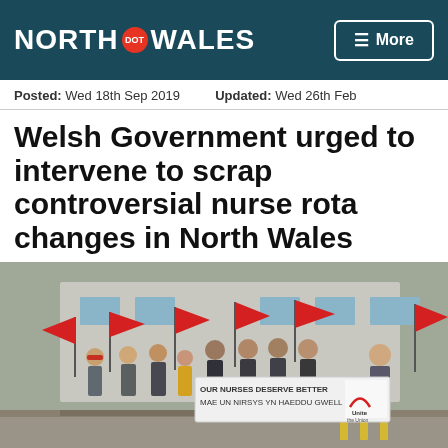NORTH DOT WALES — More
Posted: Wed 18th Sep 2019   Updated: Wed 26th Feb
Welsh Government urged to intervene to scrap controversial nurse rota changes in North Wales
[Figure (photo): Group of people outside a building holding red Unite the Union flags and a banner reading 'OUR NURSES DESERVE BETTER / MAE UN NIRSYS YN HAEDDU GWELL' with the Unite the Union logo]